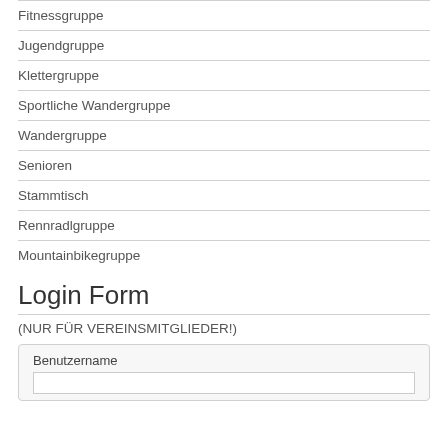Fitnessgruppe
Jugendgruppe
Klettergruppe
Sportliche Wandergruppe
Wandergruppe
Senioren
Stammtisch
Rennradlgruppe
Mountainbikegruppe
Login Form
(NUR FÜR VEREINSMITGLIEDER!)
Benutzername